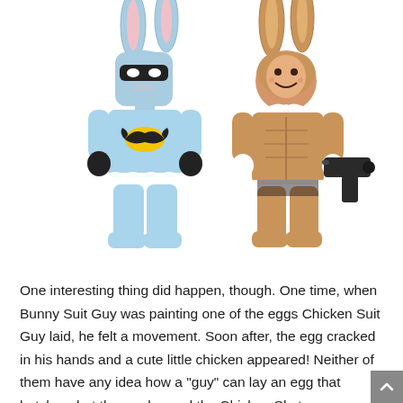[Figure (illustration): Two LEGO minifigures side by side. Left figure: Batman in a light blue bunny suit costume with Batman logo on chest, black mask, bunny ears. Right figure: A character in a brown bunny suit with rabbit ears, holding a black gun/weapon accessory.]
One interesting thing did happen, though. One time, when Bunny Suit Guy was painting one of the eggs Chicken Suit Guy laid, he felt a movement. Soon after, the egg cracked in his hands and a cute little chicken appeared! Neither of them have any idea how a "guy" can lay an egg that hatches, but they welcomed the Chicken Skater anyway (having a bunny for a best friend certainly didn't hurt, either!).